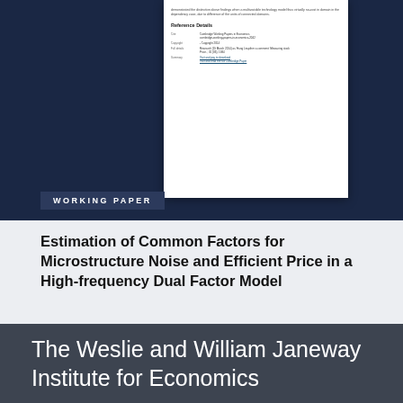[Figure (screenshot): Preview thumbnail of a working paper document showing reference details section with fields for title, author, copyright, full reference, and URL links]
WORKING PAPER
Estimation of Common Factors for Microstructure Noise and Efficient Price in a High-frequency Dual Factor Model
back to top
The Weslie and William Janeway Institute for Economics